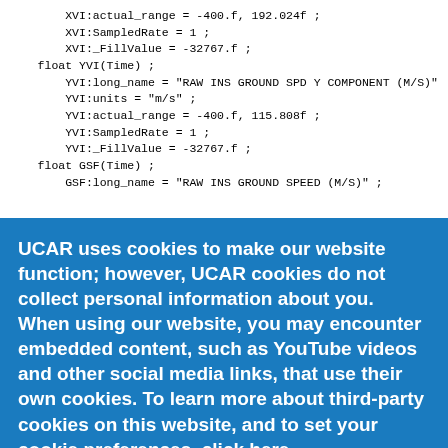XVI:actual_range = -400.f, 192.024f ;
        XVI:SampledRate = 1 ;
        XVI:_FillValue = -32767.f ;
    float YVI(Time) ;
        YVI:long_name = "RAW INS GROUND SPD Y COMPONENT (M/S)"
        YVI:units = "m/s" ;
        YVI:actual_range = -400.f, 115.808f ;
        YVI:SampledRate = 1 ;
        YVI:_FillValue = -32767.f ;
    float GSF(Time) ;
        GSF:long_name = "RAW INS GROUND SPEED (M/S)" ;
UCAR uses cookies to make our website function; however, UCAR cookies do not collect personal information about you. When using our website, you may encounter embedded content, such as YouTube videos and other social media links, that use their own cookies. To learn more about third-party cookies on this website, and to set your cookie preferences, click here.